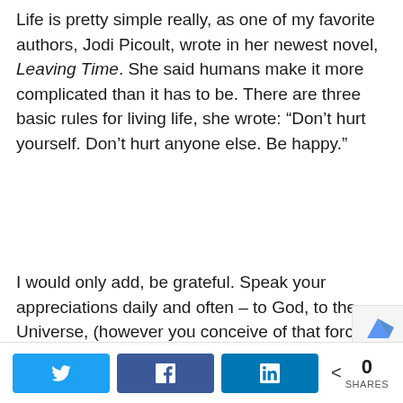Life is pretty simple really, as one of my favorite authors, Jodi Picoult, wrote in her newest novel, Leaving Time. She said humans make it more complicated than it has to be. There are three basic rules for living life, she wrote: “Don’t hurt yourself. Don’t hurt anyone else. Be happy.”
I would only add, be grateful. Speak your appreciations daily and often – to God, to the Universe, (however you conceive of that force), to the beautiful people you’ve chosen to walk this life with.